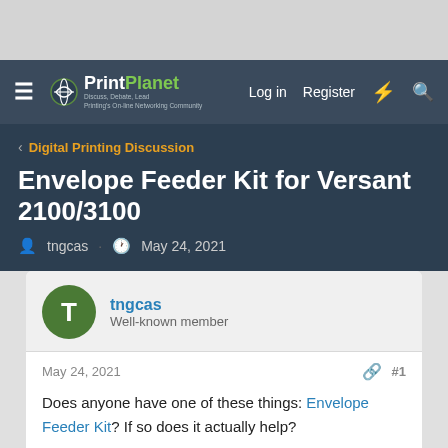PrintPlanet — Discuss, Debate, Lead. Printing's On-line Networking Community | Log in | Register
Digital Printing Discussion
Envelope Feeder Kit for Versant 2100/3100
tngcas · May 24, 2021
tngcas
Well-known member
May 24, 2021  #1
Does anyone have one of these things: Envelope Feeder Kit? If so does it actually help?

We've been running all our envelopes through our bypass tray because they tend to jam up so consistently trying to